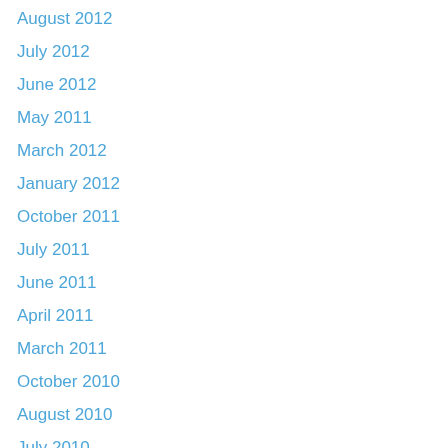August 2012
July 2012
June 2012
May 2011
March 2012
January 2012
October 2011
July 2011
June 2011
April 2011
March 2011
October 2010
August 2010
July 2010
June 2010
May 2010
April 2010
March 2010
February 2010
December 2009